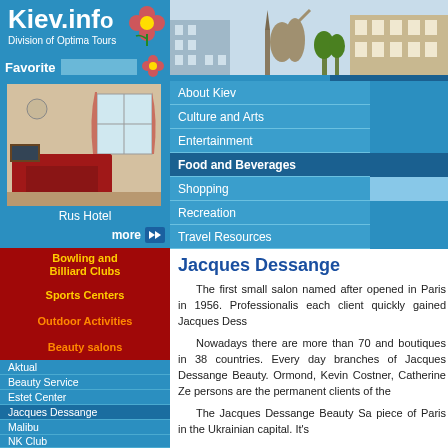Kiev.info
Division of Optima Tours
Favorite
Rus Hotel
more
Bowling and Billiard Clubs
Sports Centers
Outdoor Activities
Beauty salons
Aktual
Beauty Service
Estet Center
Jacques Dessange
Malibu
NK Club
Rachel
About Kiev
Culture and Arts
Entertainment
Food and Beverages
Shopping
Recreation
Travel Resources
Jacques Dessange
The first small salon named after opened in Paris in 1956. Professionalis each client quickly gained Jacques Dess Nowadays there are more than 70 and boutiques in 38 countries. Every day branches of Jacques Dessange Beauty. Ormond, Kevin Costner, Catherine Ze persons are the permanent clients of the The Jacques Dessange Beauty Sa piece of Paris in the Ukrainian capital. It's